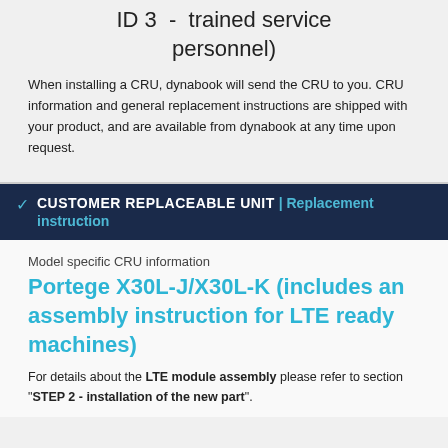ID 3 - trained service personnel)
When installing a CRU, dynabook will send the CRU to you. CRU information and general replacement instructions are shipped with your product, and are available from dynabook at any time upon request.
CUSTOMER REPLACEABLE UNIT | Replacement instruction
Model specific CRU information
Portege X30L-J/X30L-K (includes an assembly instruction for LTE ready machines)
For details about the LTE module assembly please refer to section "STEP 2 - installation of the new part".